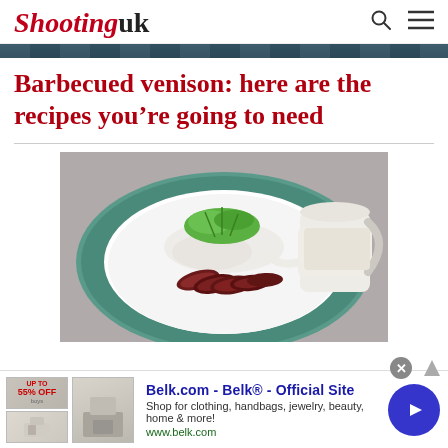Shootinguk
Barbecued venison: here are the recipes you’re going to need
[Figure (photo): Sliced barbecued venison on a decorative plate with green herb garnish and white sauce being poured from a jug]
[Figure (infographic): Belk.com advertisement banner: Belk® - Official Site. Shop for clothing, handbags, jewelry, beauty, home & more! www.belk.com]